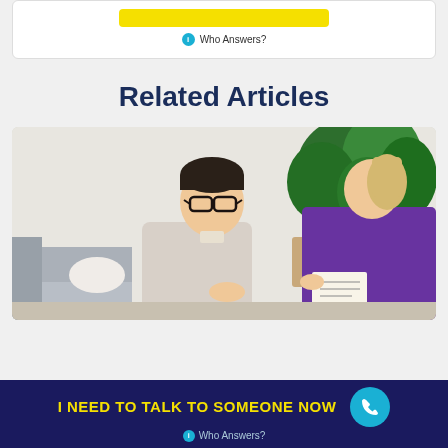[Figure (other): Yellow call-to-action button inside a white card]
Who Answers?
Related Articles
[Figure (photo): A young man wearing glasses talking to a therapist/counselor in an indoor setting with plants in the background]
I NEED TO TALK TO SOMEONE NOW
Who Answers?